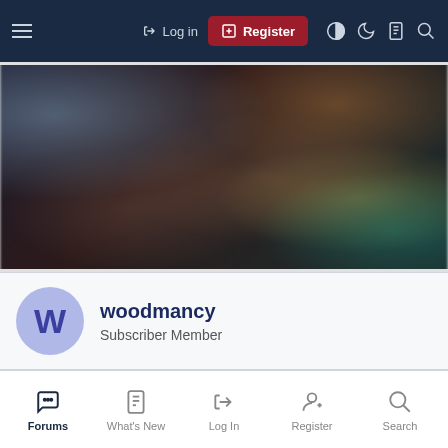[Figure (screenshot): Website navigation bar with hamburger menu, Log in link, Register button (red), and icons for theme toggle, night mode, document, and search on a dark navy background]
[Figure (photo): Blurred dark bokeh background image with blue, orange, teal and yellow light orbs]
woodmancy
Subscriber Member
[Figure (screenshot): Bottom navigation bar with Forums (active), What's New, Log In, Register, and Search tabs]